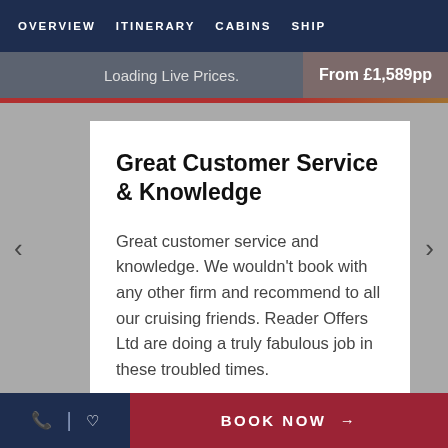OVERVIEW  ITINERARY  CABINS  SHIP
Loading Live Prices.
From £1,589pp
Great Customer Service & Knowledge
Great customer service and knowledge. We wouldn't book with any other firm and recommend to all our cruising friends. Reader Offers Ltd are doing a truly fabulous job in these troubled times.
BOOK NOW →